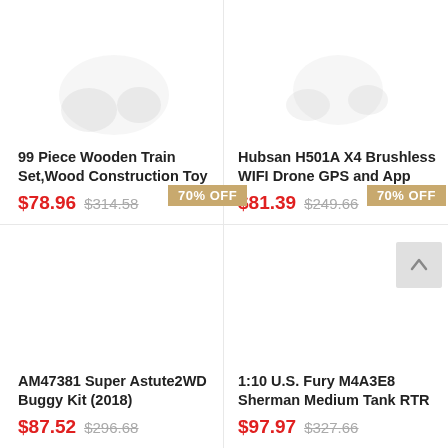[Figure (photo): Wooden train set product image (partial, top cropped)]
99 Piece Wooden Train Set,Wood Construction Toy
$78.96  $314.58
70% OFF
[Figure (photo): Hubsan drone product image (partial, top cropped)]
Hubsan H501A X4 Brushless WIFI Drone GPS and App
$81.39  $249.66
70% OFF
[Figure (photo): AM47381 Super Astute 2WD Buggy Kit product image area (empty/white)]
AM47381 Super Astute2WD Buggy Kit (2018)
$87.52  $296.68
[Figure (photo): 1:10 U.S. Fury M4A3E8 Sherman Medium Tank RTR product image area (empty/white)]
1:10 U.S. Fury M4A3E8 Sherman Medium Tank RTR
$97.97  $327.66